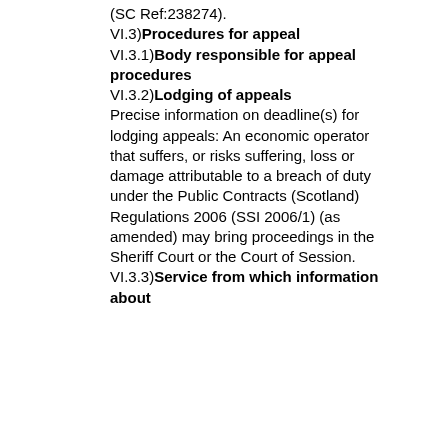(SC Ref:238274).
VI.3)Procedures for appeal
VI.3.1)Body responsible for appeal procedures
VI.3.2)Lodging of appeals
Precise information on deadline(s) for lodging appeals: An economic operator that suffers, or risks suffering, loss or damage attributable to a breach of duty under the Public Contracts (Scotland) Regulations 2006 (SSI 2006/1) (as amended) may bring proceedings in the Sheriff Court or the Court of Session.
VI.3.3)Service from which information about